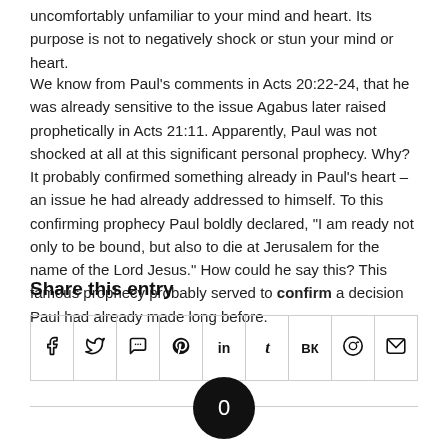uncomfortably unfamiliar to your mind and heart. Its purpose is not to negatively shock or stun your mind or heart.
We know from Paul’s comments in Acts 20:22-24, that he was already sensitive to the issue Agabus later raised prophetically in Acts 21:11. Apparently, Paul was not shocked at all at this significant personal prophecy. Why? It probably confirmed something already in Paul’s heart – an issue he had already addressed to himself. To this confirming prophecy Paul boldly declared, “I am ready not only to be bound, but also to die at Jerusalem for the name of the Lord Jesus.” How could he say this? This famous prophecy probably served to confirm a decision Paul had already made long before.
Share this entry
[Figure (other): Social share buttons row: Facebook, Twitter, WhatsApp, Pinterest, LinkedIn, Tumblr, VKontakte, Reddit, Email icons in bordered cells]
0 REPLIES